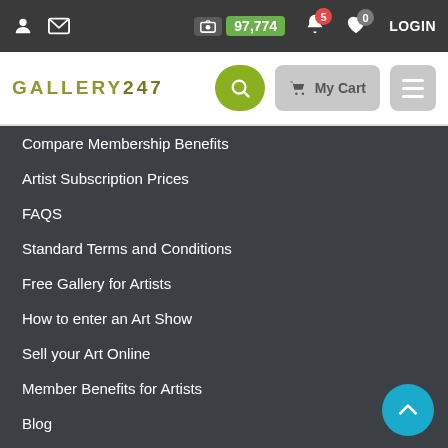Gallery247 navigation header with user icon, mail icon, photo count 97,774, bell notification 5, heart 0, LOGIN
[Figure (screenshot): Gallery247 logo with search button, My Cart button, and hamburger menu button]
Compare Membership Benefits
Artist Subscription Prices
FAQS
Standard Terms and Conditions
Free Gallery for Artists
How to enter an Art Show
Sell your Art Online
Member Benefits for Artists
Blog
Collections
Art Classes
Artist Blogs
Calendar